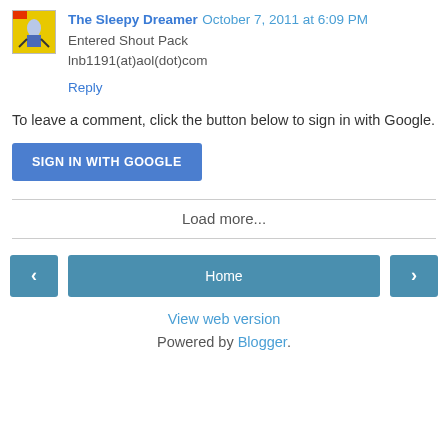The Sleepy Dreamer  October 7, 2011 at 6:09 PM
Entered Shout Pack
lnb1191(at)aol(dot)com
Reply
To leave a comment, click the button below to sign in with Google.
SIGN IN WITH GOOGLE
Load more...
‹
Home
›
View web version
Powered by Blogger.